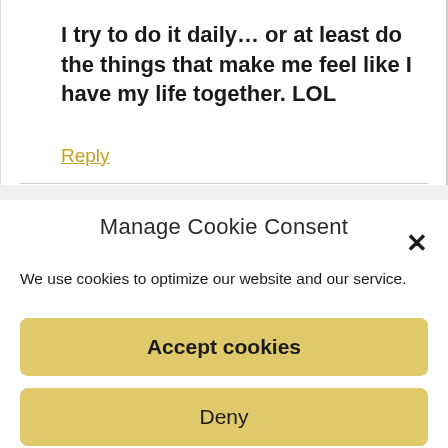I try to do it daily… or at least do the things that make me feel like I have my life together. LOL
Reply
Manage Cookie Consent
We use cookies to optimize our website and our service.
Accept cookies
Deny
View preferences